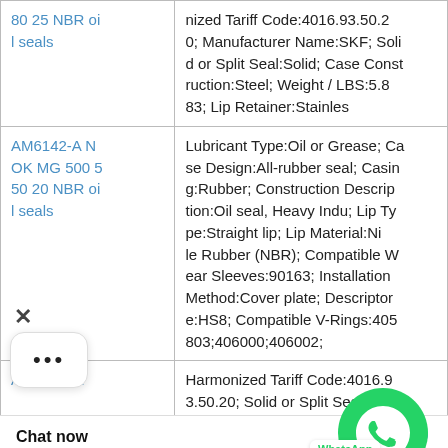| Product | Specifications |
| --- | --- |
| 80 25 NBR oil seals | Harmonized Tariff Code:4016.93.50.20; Manufacturer Name:SKF; Solid or Split Seal:Solid; Case Construction:Steel; Weight / LBS:5.883; Lip Retainer:Stainles |
| AM6142-A NOK MG 500 550 20 NBR oil seals | Lubricant Type:Oil or Grease; Case Design:All-rubber seal; Casing:Rubber; Construction Description:Oil seal, Heavy Indu; Lip Type:Straight lip; Lip Material:Nitrile Rubber (NBR); Compatible Wear Sleeves:90163; Installation Method:Cover plate; Descriptor Type:HS8; Compatible V-Rings:405803;406000;406002; |
| AM6399-F1 ... | Harmonized Tariff Code:4016.93.50.20; Solid or Split Seal:Split; Spring Loaded:Yes; Case Construction:Rubber; Inch - Metric:In...; Manufacturer Item:75526; Weight / L... |